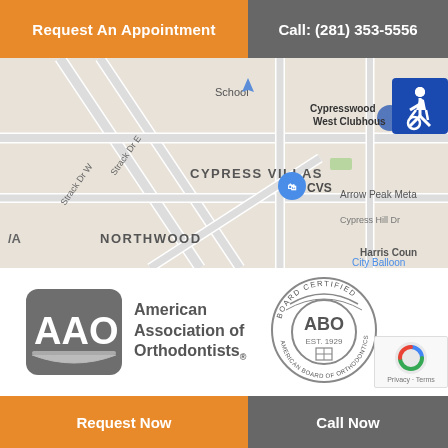Request An Appointment
Call: (281) 353-5556
[Figure (map): Google Maps screenshot showing Cypress Villas and Northwood area near CVS, with Cypresswood West Clubhouse, Arrow Peak Meta, Harris County, Cypress Hill Dr]
[Figure (logo): AAO - American Association of Orthodontists logo in grayscale]
[Figure (logo): ABO - American Board of Orthodontics Board Certified seal, Est. 1929]
[Figure (other): reCAPTCHA badge with Privacy and Terms links]
Request Now
Call Now